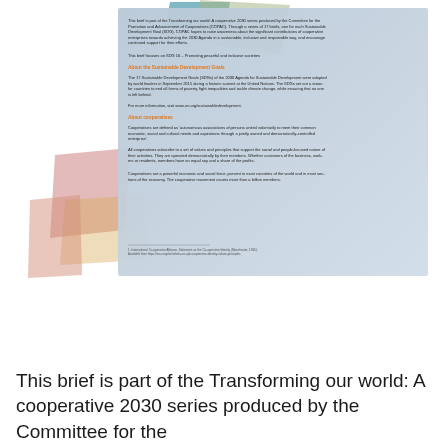[Figure (illustration): Decorative page with colored geometric shapes (teal, green, red/pink, orange/yellow) overlapping a blue-gray document page containing text about the Transforming our world: A cooperative 2030 series by COPAC]
This brief is part of the Transforming our world: A cooperative 2030 series produced by the Committee for the Promotion and Advancement of Cooperatives (COPAC). Through a series of 17 briefs, one for each Sustainable Development Goal (SDG), COPAC hopes to raise awareness about the significant contributions of cooperative enterprises towards achieving the 2030 Agenda in a sustainable, inclusive and responsible way, and encourage continued support for their efforts.
This brief focuses on SDG 16 – Promoting peaceful and inclusive societies
About the Sustainable Development Goals
The 17 Sustainable Development Goals (SDGs) of the 2030 Agenda for Sustainable Development were adopted by world leaders in September 2015 during a historic summit at the United Nations. The SDGs set out a vision for countries to end all forms of poverty, fight inequalities and tackle climate change, while ensuring that no one is left behind.
For more information, visit www.un.org/sustainabledevelopment.
About cooperatives
Cooperatives are defined as 'autonomous associations of persons united voluntarily to meet their common economic, social and cultural needs and aspirations through a jointly owned and democratically-controlled enterprise'.
All cooperatives subscribe to a set of values and principles that support the social and people-focused nature of their activities. They are operated democratically by their members. Whether customers of the business, workers or residents, members have an equal say and a share of the profits.
Cooperatives are a powerful economic and social force, present in most countries of the world and in most sections of the economy. The cooperative movement counts more than a billion members.
1. International Co-operative Alliance, Statement on the Co-operative Identity (Manchester, 1995). Available from https://ica.coop/en/whats-co-op/co-operative-identity-values-principles
This brief is part of the Transforming our world: A cooperative 2030 series produced by the Committee for the